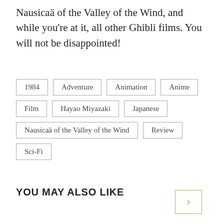Nausicaä of the Valley of the Wind, and while you're at it, all other Ghibli films. You will not be disappointed!
1984
Adventure
Animation
Anime
Film
Hayao Miyazaki
Japanese
Nausicaä of the Valley of the Wind
Review
Sci-Fi
YOU MAY ALSO LIKE